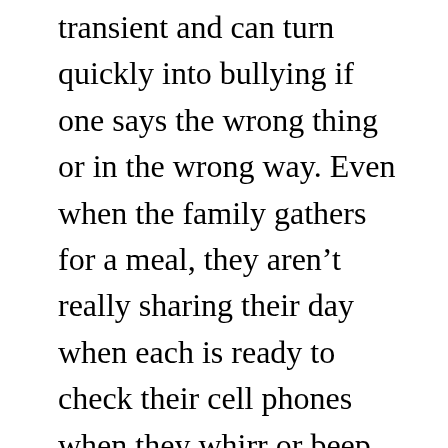transient and can turn quickly into bullying if one says the wrong thing or in the wrong way. Even when the family gathers for a meal, they aren't really sharing their day when each is ready to check their cell phones when they whirr or beep. “I’ve got to get this.”
Technology, if not restricted with boundaries, separates and divides friends and families. It is hard to take interest in your child sitting at the table trying to share about his or her day, when mom or